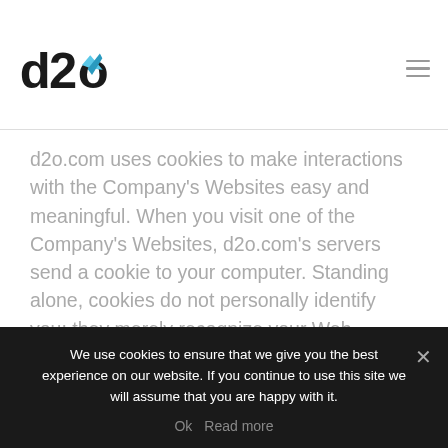d2o logo and navigation menu
d2o.com uses cookies to make interactions with the Company's Websites easy and meaningful. When you visit one of the Company's Websites, d2o.com's servers send a cookie to your computer. Standing alone, cookies do not personally identify you; they merely recognize your Web browser. Unless you choose to identify yourself to d2o.com, either by responding to...
We use cookies to ensure that we give you the best experience on our website. If you continue to use this site we will assume that you are happy with it.
Ok   Read more